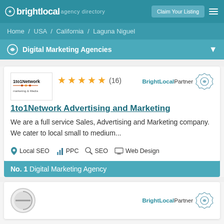brightlocal agency directory — Claim Your Listing
Home / USA / California / Laguna Niguel
Digital Marketing Agencies
[Figure (logo): 1to1Network Marketing & Media company logo]
★★★★★ (16)
BrightLocal Partner
1to1Network Advertising and Marketing
We are a full service Sales, Advertising and Marketing company. We cater to local small to medium...
Local SEO  PPC  SEO  Web Design
No. 1 Digital Marketing Agency
[Figure (logo): Second agency logo (partially visible)]
BrightLocal Partner